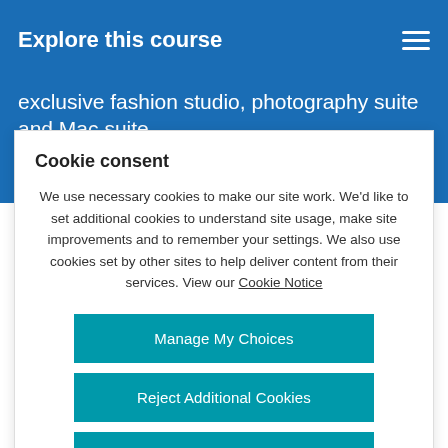Explore this course
exclusive fashion studio, photography suite and Mac suite, offering a versatile space for lectures, group work
Cookie consent
We use necessary cookies to make our site work. We'd like to set additional cookies to understand site usage, make site improvements and to remember your settings. We also use cookies set by other sites to help deliver content from their services. View our Cookie Notice
Manage My Choices
Reject Additional Cookies
Accept Additional Cookies